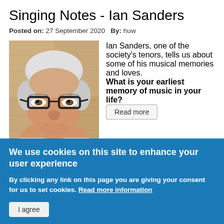Singing Notes - Ian Sanders
Posted on: 27 September 2020   By: huw
[Figure (photo): Portrait photo of Ian Sanders, an older man with white hair and dark-rimmed glasses, standing against a brick wall background.]
Ian Sanders, one of the society's tenors, tells us about some of his musical memories and loves.
What is your earliest memory of music in your life?
Read more
We use cookies on this site to enhance your user experience
By clicking any link on this page you are giving your consent for us to set cookies. Read more information
I agree